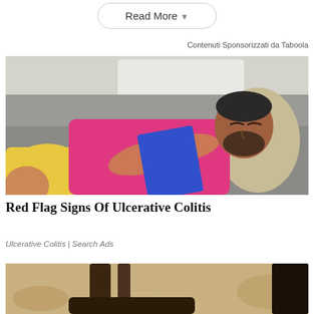Read More ▾
Contenuti Sponsorizzati da Taboola
[Figure (photo): A man in a pink shirt and yellow shorts lying on a grey couch, asleep or resting, holding a blue tablet/book on his chest.]
Red Flag Signs Of Ulcerative Colitis
Ulcerative Colitis | Search Ads
[Figure (photo): Bottom portion of a second image showing what appears to be sandals or shoes on a sandy/textured surface, partially visible at the bottom of the page.]